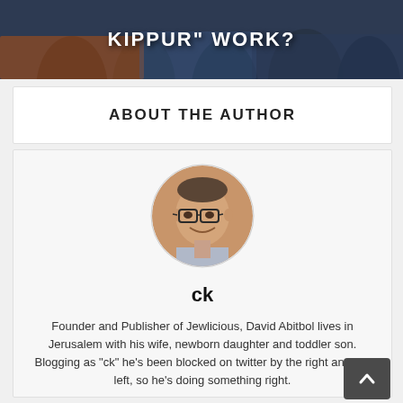[Figure (photo): Background photo showing people at what appears to be a stock exchange or busy venue, with dark overlay and white bold text reading 'KIPPUR" WORK?' in all caps]
ABOUT THE AUTHOR
[Figure (photo): Circular cropped headshot photo of a man with glasses, short hair, smiling, used as author avatar]
ck
Founder and Publisher of Jewlicious, David Abitbol lives in Jerusalem with his wife, newborn daughter and toddler son. Blogging as "ck" he's been blocked on twitter by the right and the left, so he's doing something right.